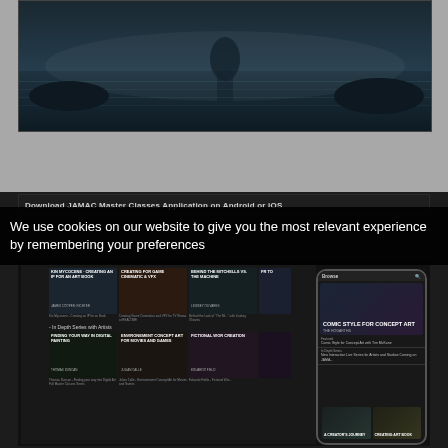[Figure (photo): Dark cinematic image with water and atmospheric lighting, top portion of a webpage]
We use cookies on our website to give you the most relevant experience by remembering your preferences
Download JAMAC Master Classes Application on Android or iOS
[Figure (screenshot): Screenshot of JAMAC Master Classes app showing desktop and mobile interfaces with video course thumbnails including: KIN MYCOCENE - CREATING AN IP FOR AN ART BOOK, CREATING FOR GAME CINEMATIC & VFX, BEHIND THE MITCHELLS VS. THE MACHINE, FINDING YOUR WAY IN DIGITAL PAINTING, ENVIRONEMENT CONCEPT ART FOR MOVIES AND GAMES, FICTIONAL WORLD CREATION, COMIC STYLE FOR CONCEPT ART on mobile view, A CREATOR'S JOURNEY, CREATING ART BOOK]